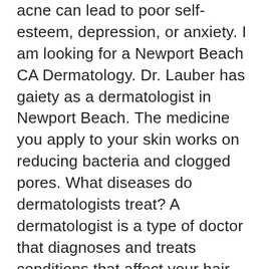acne can lead to poor self-esteem, depression, or anxiety. I am looking for a Newport Beach CA Dermatology. Dr. Lauber has gaiety as a dermatologist in Newport Beach. The medicine you apply to your skin works on reducing bacteria and clogged pores. What diseases do dermatologists treat? A dermatologist is a type of doctor that diagnoses and treats conditions that affect your hair, skin, and nails. Visit Dr. Jeffrey Lauber today for the best dermatology doctor in Newport Beach. Joy Dermatologist is Advanced Dermatology Newport Beach ( +1(949) 646.9098 ) However, sometimes these veins cause aching pain and may signal a serious circulatory problem. I am looking for a Dermatology Newport Beach CA. Dr. Lauber is the zenith as a dermatologist in Newport Beach. When treating severe acne, a birth control pill